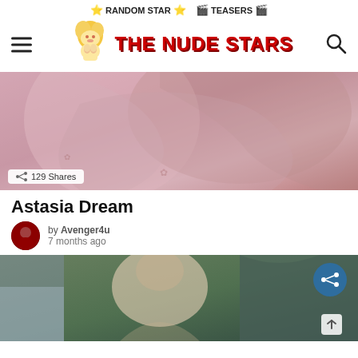⭐ RANDOM STAR ⭐  🎬 TEASERS 🎬
[Figure (logo): The Nude Stars website logo with illustrated blonde character and red bold text]
[Figure (photo): Photo of a person with pink hair wearing red fishnet bodysuit]
129 Shares
Astasia Dream
by Avenger4u
7 months ago
[Figure (photo): Photo of a young woman with braided hair outdoors near waterfall]